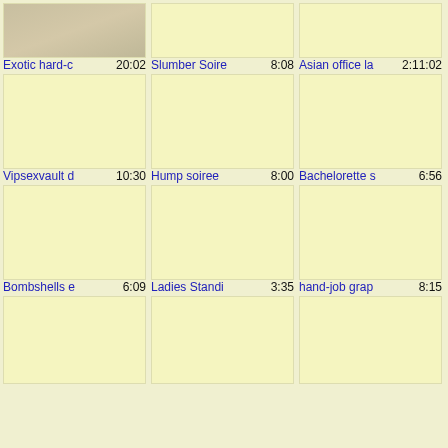[Figure (screenshot): Video thumbnail grid showing adult video content listings with titles and durations]
Exotic hard-c… 20:02
Slumber Soir… 8:08
Asian office la… 2:11:02
Vipsexvault d 10:30
Hump soiree 8:00
Bachelorette … 6:56
Bombshells e 6:09
Ladies Standi… 3:35
hand-job grap 8:15